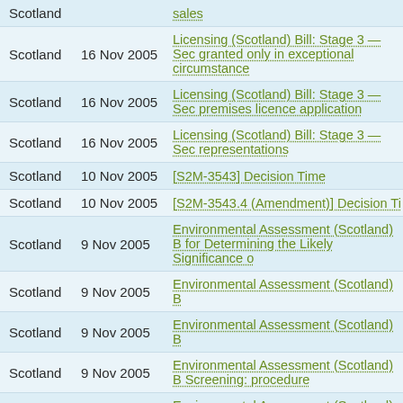| Region | Date | Title |
| --- | --- | --- |
| Scotland |  | sales |
| Scotland | 16 Nov 2005 | Licensing (Scotland) Bill: Stage 3 — Sec granted only in exceptional circumstance |
| Scotland | 16 Nov 2005 | Licensing (Scotland) Bill: Stage 3 — Sec premises licence application |
| Scotland | 16 Nov 2005 | Licensing (Scotland) Bill: Stage 3 — Sec representations |
| Scotland | 10 Nov 2005 | [S2M-3543] Decision Time |
| Scotland | 10 Nov 2005 | [S2M-3543.4 (Amendment)] Decision Ti |
| Scotland | 9 Nov 2005 | Environmental Assessment (Scotland) B for Determining the Likely Significance o |
| Scotland | 9 Nov 2005 | Environmental Assessment (Scotland) B |
| Scotland | 9 Nov 2005 | Environmental Assessment (Scotland) B |
| Scotland | 9 Nov 2005 | Environmental Assessment (Scotland) B Screening: procedure |
| Scotland | 9 Nov 2005 | Environmental Assessment (Scotland) B Screening: procedure |
| Scotland | 9 Nov 2005 | Environmental Assessment (Scotland) B Screening: procedure |
| Scotland | 9 Nov 2005 | Environmental Assessment (Scotland) B and programmes |